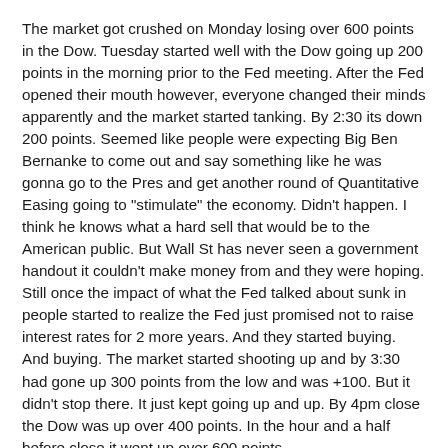The market got crushed on Monday losing over 600 points in the Dow.  Tuesday started well with the Dow going up 200 points in the morning prior to the Fed meeting.  After the Fed opened their mouth however, everyone changed their minds apparently and the market started tanking.  By 2:30 its down 200 points.  Seemed like people were expecting Big Ben Bernanke to come out and say something like he was gonna go to the Pres and get another round of Quantitative Easing going to "stimulate" the economy.  Didn't happen.  I think he knows what a hard sell that would be to the American public.  But Wall St has never seen a government handout it couldn't make money from and they were hoping.  Still once the impact of what the Fed talked about sunk in people started to realize the Fed just promised not to raise interest rates for 2 more years.  And they started buying.  And buying.  The market started shooting up and by 3:30 had gone up 300 points from the low and was +100.  But it didn't stop there.  It just kept going up and up.  By 4pm close the Dow was up over 400 points.  In the hour and a half before close it went up over 600 points.